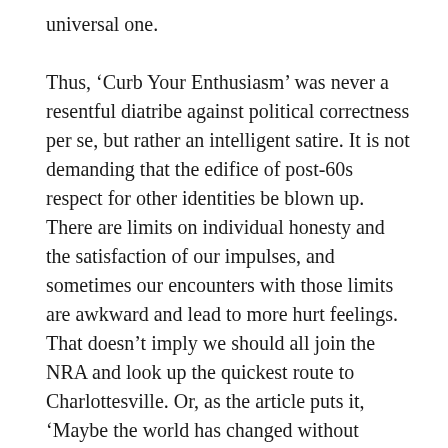universal one.
Thus, ‘Curb Your Enthusiasm’ was never a resentful diatribe against political correctness per se, but rather an intelligent satire. It is not demanding that the edifice of post-60s respect for other identities be blown up. There are limits on individual honesty and the satisfaction of our impulses, and sometimes our encounters with those limits are awkward and lead to more hurt feelings. That doesn’t imply we should all join the NRA and look up the quickest route to Charlottesville. Or, as the article puts it, ‘Maybe the world has changed without telling Larry David. Maybe Larry now simply feels too much like a rich, straight white man lumbering